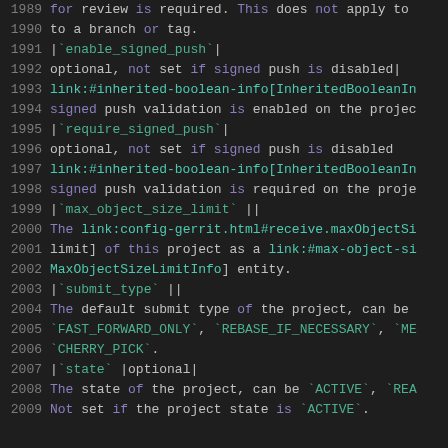1989  for review is required. This does not apply to
1990  to a branch or tag.
1991  |`enable_signed_push`|
1992  optional, not set if signed push is disabled|
1993  link:#inherited-boolean-info[InheritedBooleanIn
1994  signed push validation is enabled on the projec
1995  |`require_signed_push`|
1996  optional, not set if signed push is disabled
1997  link:#inherited-boolean-info[InheritedBooleanIn
1998  signed push validation is required on the proje
1999  |`max_object_size_limit`     ||
2000  The link:config-gerrit.html#receive.maxObjectSi
2001  limit] of this project as a link:#max-object-si
2002  MaxObjectSizeLimitInfo] entity.
2003  |`submit_type`              ||
2004  The default submit type of the project, can be
2005  `FAST_FORWARD_ONLY`, `REBASE_IF_NECESSARY`, `ME
2006  `CHERRY_PICK`.
2007  |`state`                    |optional|
2008  The state of the project, can be `ACTIVE`, `REA
2009  Not set if the project state is `ACTIVE`.